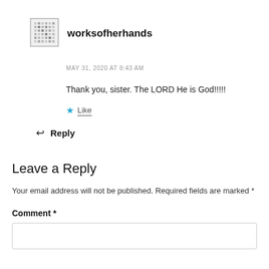[Figure (other): Avatar/gravatar image — a small pixel-pattern avatar icon with a border]
worksofherhands
MAY 31, 2020 AT 8:43 AM
Thank you, sister. The LORD He is God!!!!!
★ Like
↩ Reply
Leave a Reply
Your email address will not be published. Required fields are marked *
Comment *